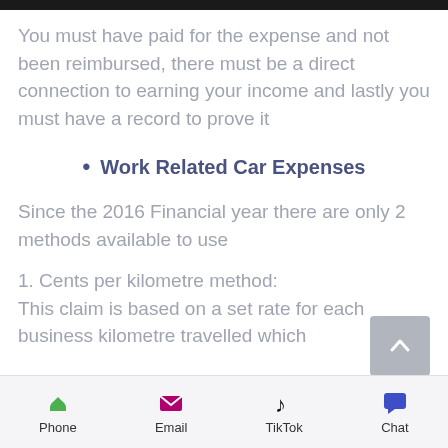You must have paid for the expense and not been reimbursed, there must be a direct connection to earning your income and lastly you must have a record to prove it
Work Related Car Expenses
Since the 2016 Financial year there are only 2 methods available to use
1. Cents per kilometre method: This claim is based on a set rate for each business kilometre travelled which